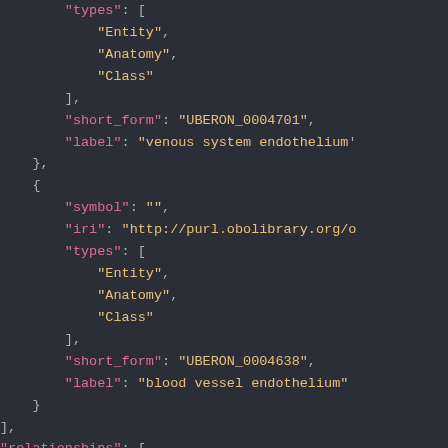JSON code block showing types array with Entity, Anatomy, Class; short_form UBERON_0004701; label venous system endothelium; then another object with symbol empty, iri http://purl.obolibrary.org/o..., types array with Entity, Anatomy, Class; short_form UBERON_0004638; label blood vessel endothelium; closing brackets and relationships key